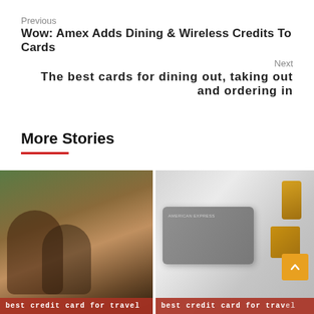Previous
Wow: Amex Adds Dining & Wireless Credits To Cards
Next
The best cards for dining out, taking out and ordering in
More Stories
[Figure (photo): Couple smiling looking at a credit card and phone, woman in yellow sweater with curly hair]
[Figure (photo): American Express card on white surface with gold USB drives and accessories]